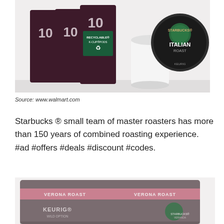[Figure (photo): Starbucks Italian Roast K-Cup pods product image showing multiple dark-colored boxes labeled with '10 Recyclable K-Cup Pods' and a single K-Cup pod with Starbucks Italian Roast branding]
Source: www.walmart.com
Starbucks ® small team of master roasters has more than 150 years of combined roasting experience. #ad #offers #deals #discount #codes.
[Figure (photo): Starbucks Keurig coffee K-Cup pods bulk box product image, showing large gray and pink branded Starbucks box with Keurig branding visible]